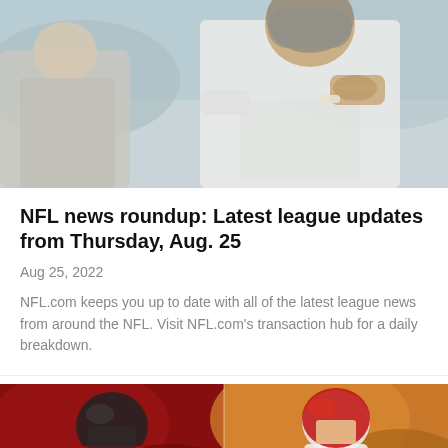[Figure (photo): NFL quarterback in white Cleveland Browns uniform holding a football, preparing to throw, with another player in grey visible to the left]
NFL news roundup: Latest league updates from Thursday, Aug. 25
Aug 25, 2022
NFL.com keeps you up to date with all of the latest league news from around the NFL. Visit NFL.com's transaction hub for a daily breakdown.
[Figure (photo): Split image showing two NFL quarterbacks: on the left a Tampa Bay Buccaneers player in red uniform, on the right a Kansas City Chiefs player in white uniform with number 15]